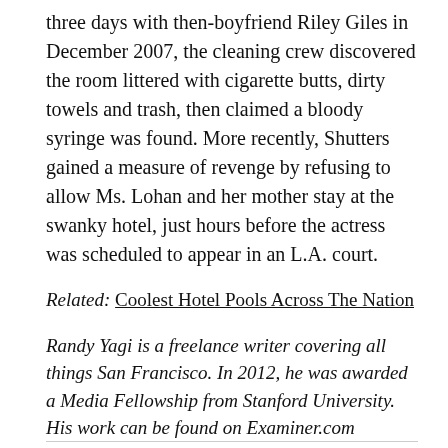three days with then-boyfriend Riley Giles in December 2007, the cleaning crew discovered the room littered with cigarette butts, dirty towels and trash, then claimed a bloody syringe was found. More recently, Shutters gained a measure of revenge by refusing to allow Ms. Lohan and her mother stay at the swanky hotel, just hours before the actress was scheduled to appear in an L.A. court.
Related: Coolest Hotel Pools Across The Nation
Randy Yagi is a freelance writer covering all things San Francisco. In 2012, he was awarded a Media Fellowship from Stanford University. His work can be found on Examiner.com Examiner.com.